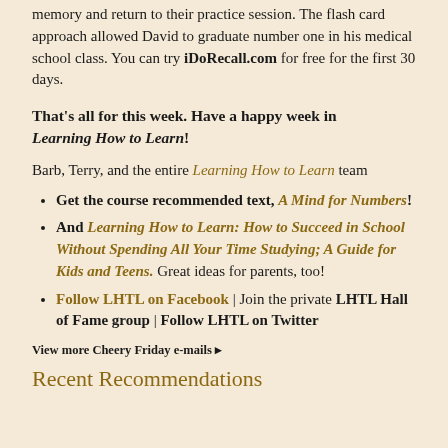memory and return to their practice session. The flash card approach allowed David to graduate number one in his medical school class. You can try iDoRecall.com for free for the first 30 days.
That's all for this week. Have a happy week in Learning How to Learn!
Barb, Terry, and the entire Learning How to Learn team
Get the course recommended text, A Mind for Numbers!
And Learning How to Learn: How to Succeed in School Without Spending All Your Time Studying; A Guide for Kids and Teens. Great ideas for parents, too!
Follow LHTL on Facebook | Join the private LHTL Hall of Fame group | Follow LHTL on Twitter
View more Cheery Friday e-mails ▸
Recent Recommendations